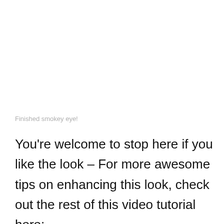Finished smokey eye!
You're welcome to stop here if you like the look – For more awesome tips on enhancing this look, check out the rest of this video tutorial here: